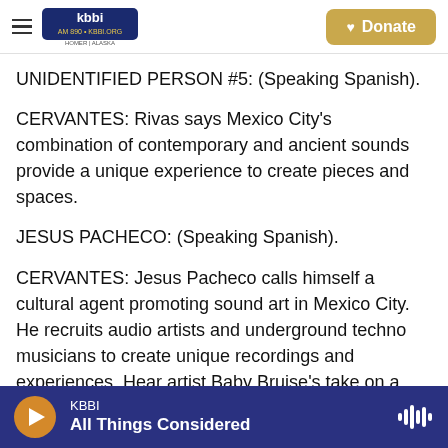KBBI AM 890 | KBBI.ORG Homer, Alaska — Donate
UNIDENTIFIED PERSON #5: (Speaking Spanish).
CERVANTES: Rivas says Mexico City's combination of contemporary and ancient sounds provide a unique experience to create pieces and spaces.
JESUS PACHECO: (Speaking Spanish).
CERVANTES: Jesus Pacheco calls himself a cultural agent promoting sound art in Mexico City. He recruits audio artists and underground techno musicians to create unique recordings and experiences. Hear artist Baby Bruise's take on a work from avant garde artist Thomas Glassford
KBBI | All Things Considered